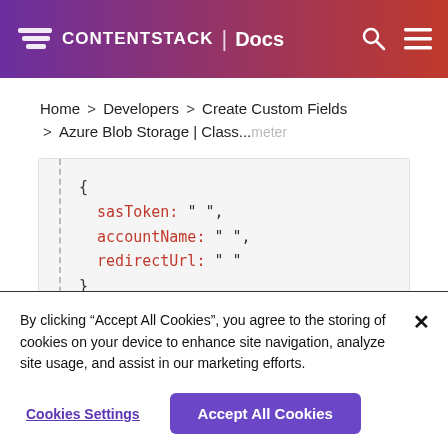CONTENTSTACK | Docs
Home > Developers > Create Custom Fields > Azure Blob Storage | Class...meter
[Figure (screenshot): Code block showing JSON object with sasToken, accountName, and redirectUrl fields]
By clicking “Accept All Cookies”, you agree to the storing of cookies on your device to enhance site navigation, analyze site usage, and assist in our marketing efforts.
Cookies Settings | Accept All Cookies